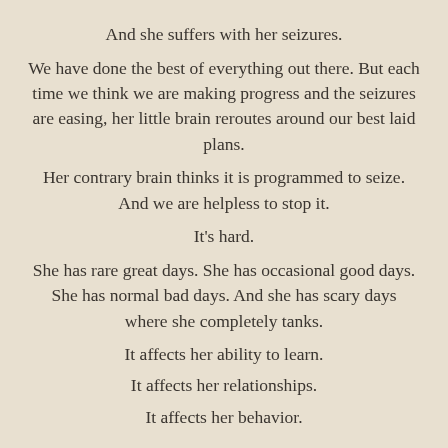And she suffers with her seizures.
We have done the best of everything out there. But each time we think we are making progress and the seizures are easing, her little brain reroutes around our best laid plans.
Her contrary brain thinks it is programmed to seize. And we are helpless to stop it.
It's hard.
She has rare great days. She has occasional good days. She has normal bad days. And she has scary days where she completely tanks.
It affects her ability to learn.
It affects her relationships.
It affects her behavior.